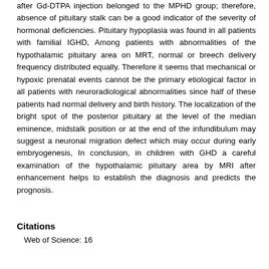after Gd-DTPA injection belonged to the MPHD group; therefore, absence of pituitary stalk can be a good indicator of the severity of hormonal deficiencies. Pituitary hypoplasia was found in all patients with familial IGHD, Among patients with abnormalities of the hypothalamic pituitary area on MRT, normal or breech delivery frequency distributed equally. Therefore it seems that mechanical or hypoxic prenatal events cannot be the primary etiological factor in all patients with neuroradiological abnormalities since half of these patients had normal delivery and birth history. The localization of the bright spot of the posterior pituitary at the level of the median eminence, midstalk position or at the end of the infundibulum may suggest a neuronal migration defect which may occur during early embryogenesis, In conclusion, in children with GHD a careful examination of the hypothalamic pituitary area by MRI after enhancement helps to establish the diagnosis and predicts the prognosis.
Citations
Web of Science: 16